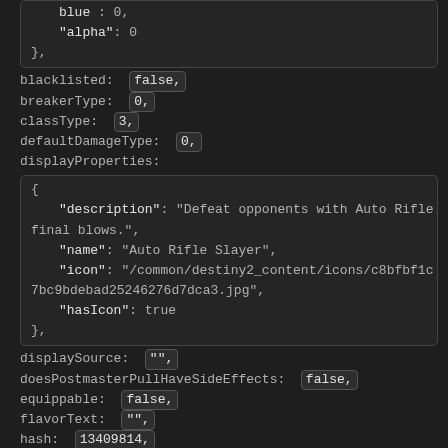blue: 0,
"alpha": 0
},
blacklisted:  false,
breakerType:  0,
classType:  3,
defaultDamageType:  0,
displayProperties:
{
  "description": "Defeat opponents with Auto Rifle final blows.",
  "name": "Auto Rifle Slayer",
  "icon": "/common/destiny2_content/icons/c8bfbf1c7bc9bdebad25246276d7dca3.jpg",
  "hasIcon": true
},
displaySource:  "",
doesPostmasterPullHaveSideEffects:  false,
equippable:  false,
flavorText:  "",
hash:  13409814,
index:  15649,
inventory:
{
  "stackUniqueLabel": "bounties.crucible.repeatabl...